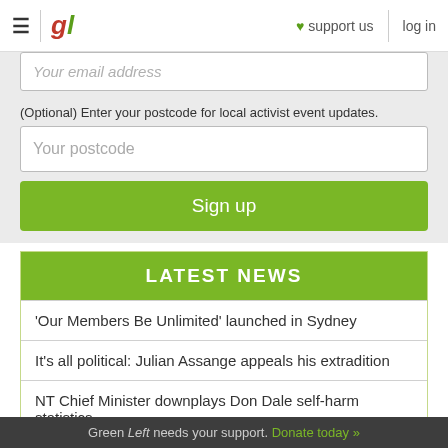gl | ♥ support us | log in
Your email address
(Optional) Enter your postcode for local activist event updates.
Your postcode
Sign up
LATEST NEWS
'Our Members Be Unlimited' launched in Sydney
It's all political: Julian Assange appeals his extradition
NT Chief Minister downplays Don Dale self-harm statistics
Green Left needs your support. Donate today »